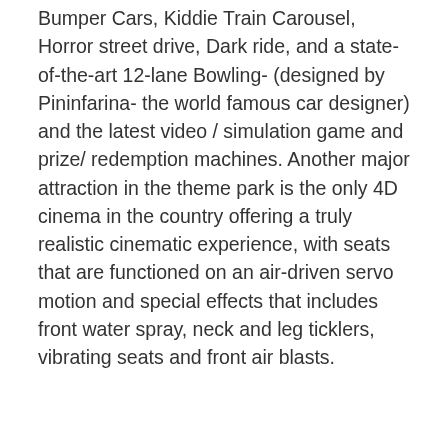Bumper Cars, Kiddie Train Carousel, Horror street drive, Dark ride, and a state-of-the-art 12-lane Bowling- (designed by Pininfarina- the world famous car designer) and the latest video / simulation game and prize/ redemption machines. Another major attraction in the theme park is the only 4D cinema in the country offering a truly realistic cinematic experience, with seats that are functioned on an air-driven servo motion and special effects that includes front water spray, neck and leg ticklers, vibrating seats and front air blasts.